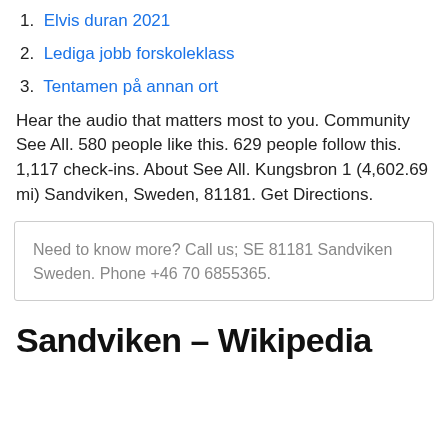1. Elvis duran 2021
2. Lediga jobb forskoleklass
3. Tentamen på annan ort
Hear the audio that matters most to you. Community See All. 580 people like this. 629 people follow this. 1,117 check-ins. About See All. Kungsbron 1 (4,602.69 mi) Sandviken, Sweden, 81181. Get Directions.
Need to know more? Call us; SE 81181 Sandviken Sweden. Phone +46 70 6855365.
Sandviken – Wikipedia